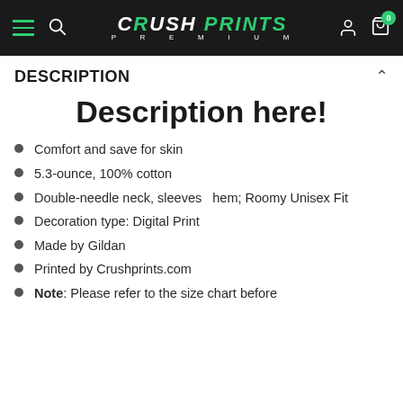CRUSH PREMIUM PRINTS
DESCRIPTION
Description here!
Comfort and save for skin
5.3-ounce, 100% cotton
Double-needle neck, sleeves  hem; Roomy Unisex Fit
Decoration type: Digital Print
Made by Gildan
Printed by Crushprints.com
Note: Please refer to the size chart before